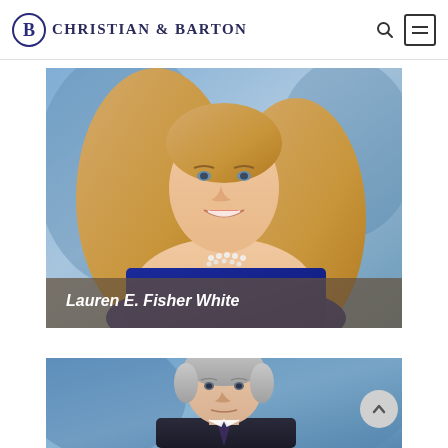Christian & Barton
[Figure (photo): Professional headshot of Lauren E. Fisher White, a woman with long blonde hair wearing a blue dress and pearl necklace, with a blurred blue background]
Lauren E. Fisher White
[Figure (photo): Professional headshot of a man with gray hair wearing a dark suit, with a blurred blue background, partially visible (cropped)]